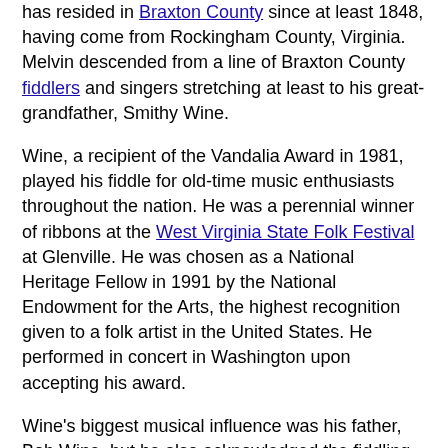has resided in Braxton County since at least 1848, having come from Rockingham County, Virginia. Melvin descended from a line of Braxton County fiddlers and singers stretching at least to his great-grandfather, Smithy Wine.
Wine, a recipient of the Vandalia Award in 1981, played his fiddle for old-time music enthusiasts throughout the nation. He was a perennial winner of ribbons at the West Virginia State Folk Festival at Glenville. He was chosen as a National Heritage Fellow in 1991 by the National Endowment for the Arts, the highest recognition given to a folk artist in the United States. He performed in concert in Washington upon accepting his award.
Wine's biggest musical influence was his father, Bob Wine, but he also acknowledged the fiddling prowess of "Uncle Jack" McElwain of Webster County. At the beginning of the 21st century, Melvin Wine was widely recognized as one who had maintained a repertoire distinctly tied to central West Virginia and who adhered to a playing style closely linked to the 19th century. With a repertoire of more than 250 tunes, Wine's style and tunes were studied by student fiddlers at regional workshops. He directly and intensively taught three young fiddlers through the West Virginia Folk Art Apprenticeship Program.
.